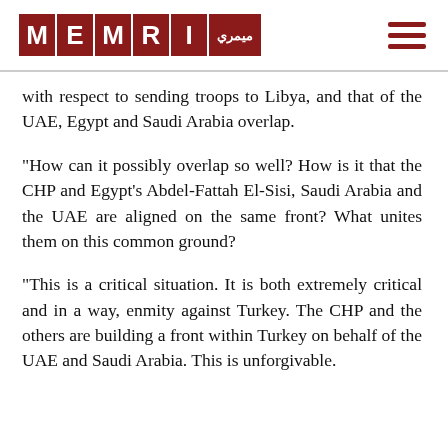MEMRI (logo)
with respect to sending troops to Libya, and that of the UAE, Egypt and Saudi Arabia overlap.
"How can it possibly overlap so well? How is it that the CHP and Egypt's Abdel-Fattah El-Sisi, Saudi Arabia and the UAE are aligned on the same front? What unites them on this common ground?
"This is a critical situation. It is both extremely critical and in a way, enmity against Turkey. The CHP and the others are building a front within Turkey on behalf of the UAE and Saudi Arabia. This is unforgivable.